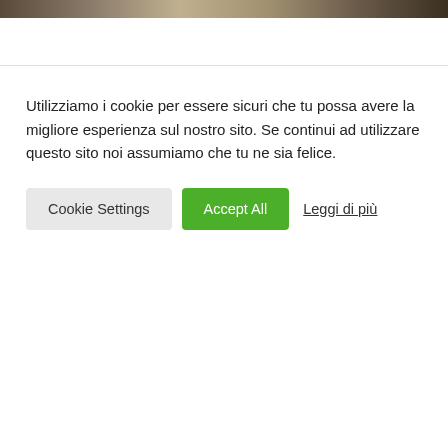[Figure (photo): Partial view of a webpage with a header image strip at the top showing an outdoor/architectural scene]
Utilizziamo i cookie per essere sicuri che tu possa avere la migliore esperienza sul nostro sito. Se continui ad utilizzare questo sito noi assumiamo che tu ne sia felice.
Cookie Settings
Accept All
Leggi di più